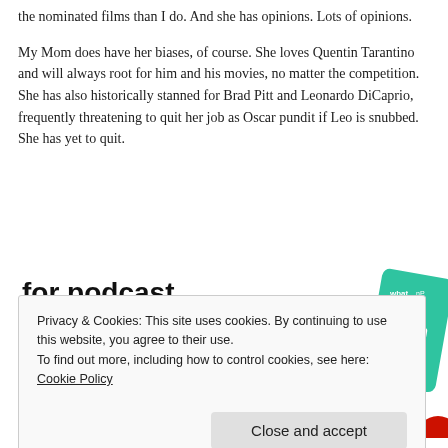the nominated films than I do. And she has opinions. Lots of opinions.
My Mom does have her biases, of course. She loves Quentin Tarantino and will always root for him and his movies, no matter the competition. She has also historically stanned for Brad Pitt and Leonardo DiCaprio, frequently threatening to quit her job as Oscar pundit if Leo is snubbed. She has yet to quit.
[Figure (infographic): Advertisement banner for podcast lovers app showing partial text 'for podcast lovers.' with a 'Download now' button in red and app screenshots on the right including a black grid card and a teal card.]
Privacy & Cookies: This site uses cookies. By continuing to use this website, you agree to their use.
To find out more, including how to control cookies, see here: Cookie Policy
Close and accept